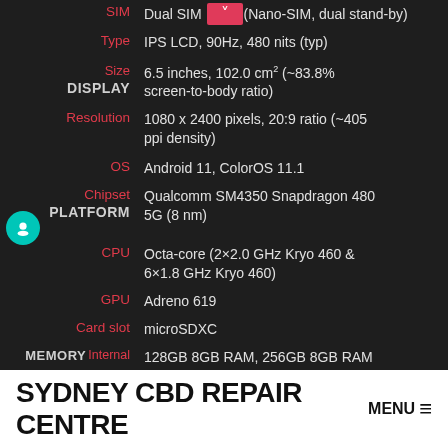| Field | Label | Value |
| --- | --- | --- |
| SIM | SIM | Dual SIM (Nano-SIM, dual stand-by) |
| DISPLAY | Type | IPS LCD, 90Hz, 480 nits (typ) |
| DISPLAY | Size | 6.5 inches, 102.0 cm² (~83.8% screen-to-body ratio) |
| DISPLAY | Resolution | 1080 x 2400 pixels, 20:9 ratio (~405 ppi density) |
| PLATFORM | OS | Android 11, ColorOS 11.1 |
| PLATFORM | Chipset | Qualcomm SM4350 Snapdragon 480 5G (8 nm) |
| PLATFORM | CPU | Octa-core (2×2.0 GHz Kryo 460 & 6×1.8 GHz Kryo 460) |
| PLATFORM | GPU | Adreno 619 |
| MEMORY | Card slot | microSDXC |
| MEMORY | Internal | 128GB 8GB RAM, 256GB 8GB RAM |
SYDNEY CBD REPAIR CENTRE MENU ≡